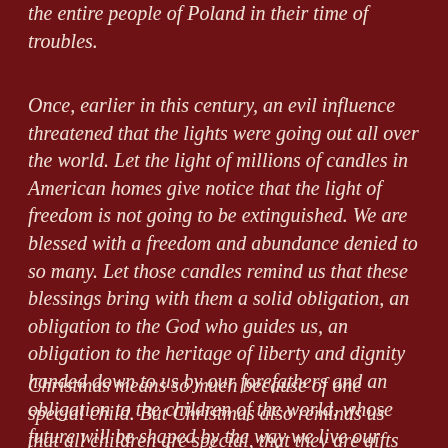the entire people of Poland in their time of troubles.
Once, earlier in this century, an evil influence threatened that the lights were going out all over the world. Let the light of millions of candles in American homes give notice that the light of freedom is not going to be extinguished. We are blessed with a freedom and abundance denied to so many. Let those candles remind us that these blessings bring with them a solid obligation, an obligation to the God who guides us, an obligation to the heritage of liberty and dignity handed down to us by our forefathers and an obligation to the children of the world, whose future will be shaped by the way we live our lives today.
Christmas means so much because of one special child. But Christmas also reminds us that all children are special, that they are gifts from God, gifts beyond price that mean more than any presents money can buy. In their love and